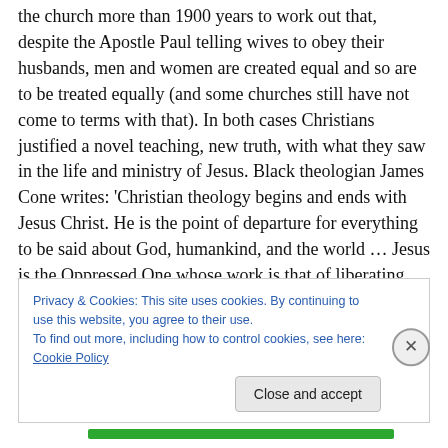the church more than 1900 years to work out that, despite the Apostle Paul telling wives to obey their husbands, men and women are created equal and so are to be treated equally (and some churches still have not come to terms with that). In both cases Christians justified a novel teaching, new truth, with what they saw in the life and ministry of Jesus. Black theologian James Cone writes: 'Christian theology begins and ends with Jesus Christ. He is the point of departure for everything to be said about God, humankind, and the world … Jesus is the Oppressed One whose work is that of liberating humanity from
Privacy & Cookies: This site uses cookies. By continuing to use this website, you agree to their use.
To find out more, including how to control cookies, see here: Cookie Policy